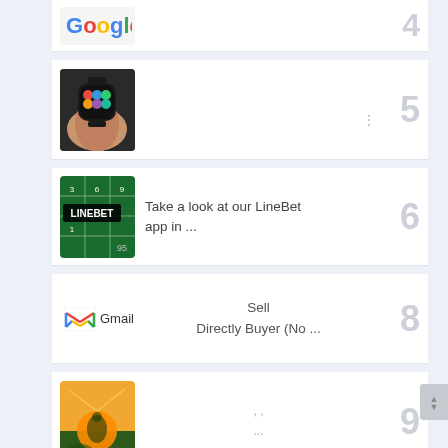[Figure (screenshot): List item row 4: Google logo thumbnail, item number 4]
[Figure (screenshot): List item row 5: Smartwatch on wrist thumbnail, three-dot menu icon, item number 5]
Take a look at our LineBet app in ...
Sell Directly Buyer (No ...
[Figure (screenshot): List item row 9: Person sitting outdoors in sunlight thumbnail, item number 9]
[Figure (screenshot): List item row 10: Messenger app icon thumbnail, item number 10 (partially visible)]